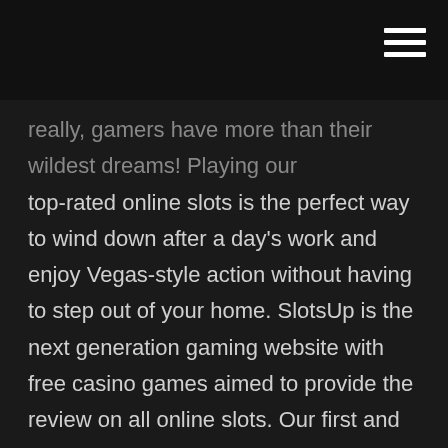really, gamers have more than their wildest dreams! Playing our top-rated online slots is the perfect way to wind down after a day's work and enjoy Vegas-style action without having to step out of your home. SlotsUp is the next generation gaming website with free casino games aimed to provide the review on all online slots. Our first and foremost goal is to constantly update the slot machines demo collection, categorizing them based on casino software and features like Bonus Rounds or Free Spins. Du kan prova alla slots på vår lista gratis, vilket ger dig möjlighet att välja ditt favoritspel för att göra dina satsningar med riktiga pengar. Spela Våra Topprankade Slots Online De bästa online-slotspelen har gett timmar av fantastiskt spelunderhållning till spelare från hela världen, och gjort några lyckliga